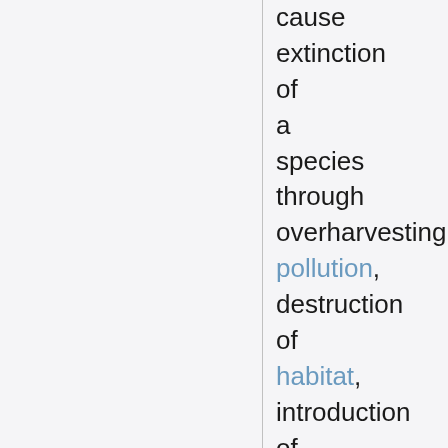cause extinction of a species through overharvesting, pollution, destruction of habitat, introduction of new predators,